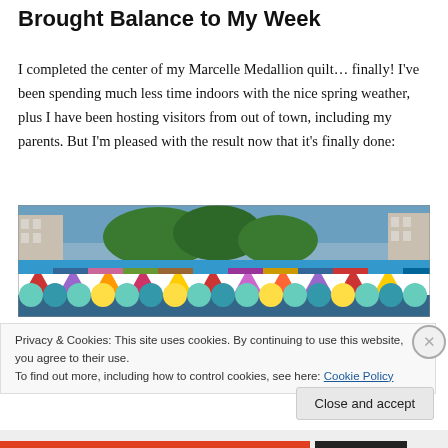Brought Balance to My Week
I completed the center of my Marcelle Medallion quilt… finally! I've been spending much less time indoors with the nice spring weather, plus I have been hosting visitors from out of town, including my parents. But I'm pleased with the result now that it's finally done:
[Figure (photo): A colorful patchwork quilt displayed outdoors, showing various fabric patterns including triangles, geometric shapes, and a row of scalloped/fan-shaped pieces along the bottom. Trees and buildings visible in background.]
Privacy & Cookies: This site uses cookies. By continuing to use this website, you agree to their use.
To find out more, including how to control cookies, see here: Cookie Policy
Close and accept